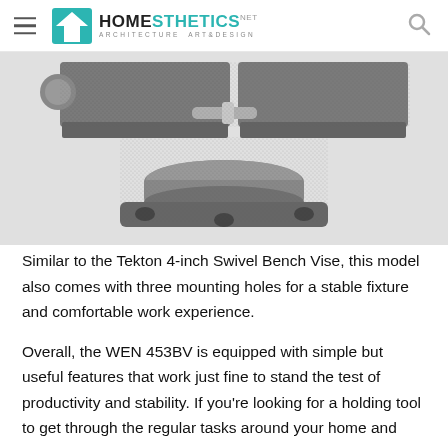HOMESTHETICS — Architecture Art & Design
[Figure (photo): Close-up photo of a bench vise (WEN 453BV) showing the swivel base with three mounting holes, the jaw and locking mechanism, on a white background]
Similar to the Tekton 4-inch Swivel Bench Vise, this model also comes with three mounting holes for a stable fixture and comfortable work experience.
Overall, the WEN 453BV is equipped with simple but useful features that work just fine to stand the test of productivity and stability. If you're looking for a holding tool to get through the regular tasks around your home and garage, then this product is worth considering.